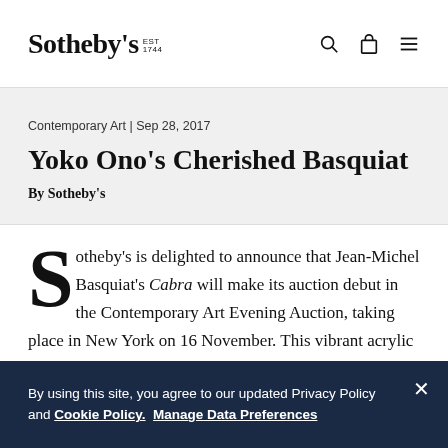Sotheby's EST 1744
Contemporary Art | Sep 28, 2017
Yoko Ono's Cherished Basquiat
By Sotheby's
Sotheby's is delighted to announce that Jean-Michel Basquiat's Cabra will make its auction debut in the Contemporary Art Evening Auction, taking place in New York on 16 November. This vibrant acrylic and oilstick
By using this site, you agree to our updated Privacy Policy and Cookie Policy. Manage Data Preferences